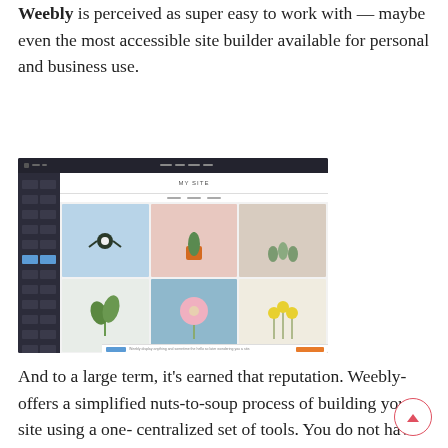Weebly is perceived as super easy to work with — maybe even the most accessible site builder available for personal and business use.
[Figure (screenshot): Screenshot of the Weebly website builder interface showing a sidebar with controls on the left, and a main content area displaying a grid of six photo tiles (flowers, plants, cactus) with 'MY SITE' header.]
And to a large term, it's earned that reputation. Weebly-offers a simplified nuts-to-soup process of building your site using a one-centralized set of tools. You do not have to separately set-up your